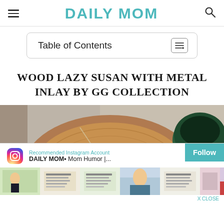DAILY MOM
Table of Contents
WOOD LAZY SUSAN WITH METAL INLAY BY GG COLLECTION
[Figure (photo): Top-down photo of a wood lazy susan with cheese, olives, and a dark green ceramic bowl beside it]
Recommended Instagram Account
DAILY MOM• Mom Humor |...
[Figure (photo): Strip of Instagram thumbnail photos from Daily Mom account showing various lifestyle and humor posts]
X CLOSE